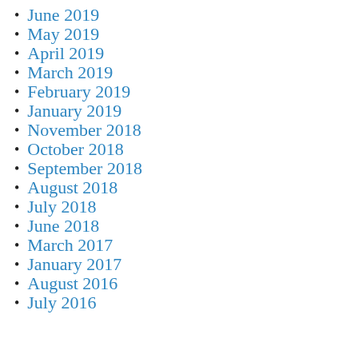June 2019
May 2019
April 2019
March 2019
February 2019
January 2019
November 2018
October 2018
September 2018
August 2018
July 2018
June 2018
March 2017
January 2017
August 2016
July 2016